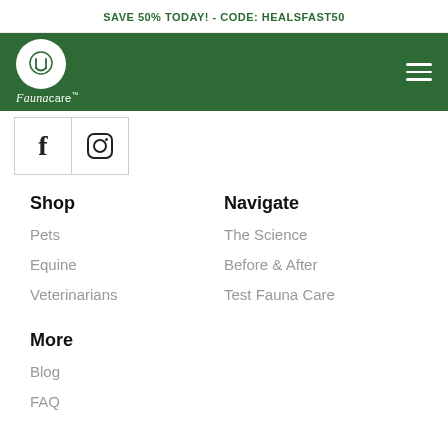SAVE 50% TODAY! - CODE: HEALSFAST50
[Figure (logo): Fauna Care logo — white circle with stylized pet icon, italic text 'Fauna care' below, on dark green navigation bar with hamburger menu icon on the right]
[Figure (infographic): Social media icons: Facebook (f) and Instagram (camera) in bordered square cells]
Shop
Pets
Equine
Veterinarians
Navigate
The Science
Before & After
Test Fauna Care
More
Blog
FAQ